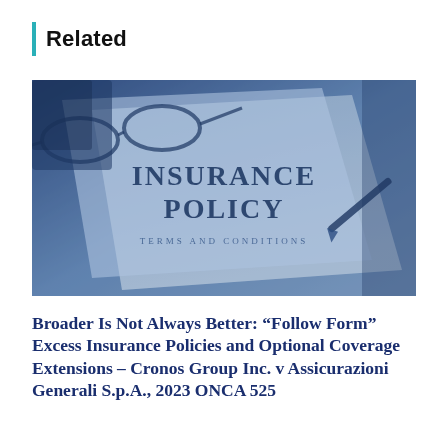Related
[Figure (photo): Photograph of an insurance policy document with the text INSURANCE POLICY TERMS AND CONDITIONS, with glasses and a pen visible on top, rendered in blue-tinted monochrome.]
Broader Is Not Always Better: “Follow Form” Excess Insurance Policies and Optional Coverage Extensions – Cronos Group Inc. v Assicurazioni Generali S.p.A., 2023 ONCA 525